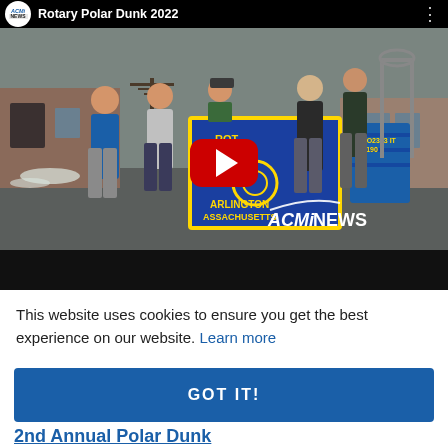[Figure (screenshot): YouTube video thumbnail showing group of people holding a Rotary Club Arlington Massachusetts banner outdoors in winter. Title bar reads 'Rotary Polar Dunk 2022' with ACMI NEWS logo. Large red YouTube play button overlay in center. ACMI NEWS watermark bottom right. Black bar at bottom.]
This website uses cookies to ensure you get the best experience on our website. Learn more
GOT IT!
2nd Annual Polar Dunk